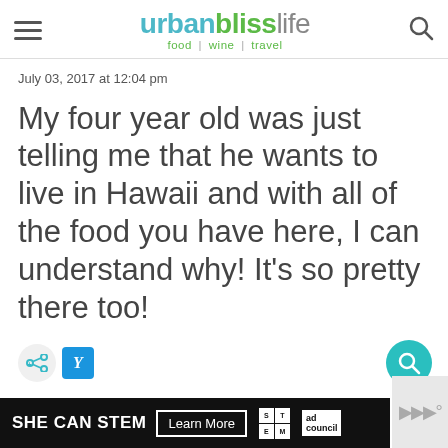urbanblisslife — food | wine | travel
July 03, 2017 at 12:04 pm
My four year old was just telling me that he wants to live in Hawaii and with all of the food you have here, I can understand why! It's so pretty there too!
[Figure (other): Social share icons and search button]
[Figure (other): SHE CAN STEM advertisement banner with Learn More button, STEM logo, Ad Council logo]